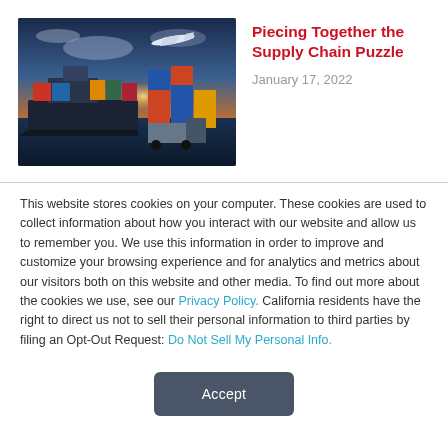[Figure (photo): Aerial/ground view of a port/logistics scene with a large cargo ship, shipping containers, a truck, and an airplane flying overhead against a dramatic orange and blue sunset sky.]
Piecing Together the Supply Chain Puzzle
January 17, 2022
This website stores cookies on your computer. These cookies are used to collect information about how you interact with our website and allow us to remember you. We use this information in order to improve and customize your browsing experience and for analytics and metrics about our visitors both on this website and other media. To find out more about the cookies we use, see our Privacy Policy. California residents have the right to direct us not to sell their personal information to third parties by filing an Opt-Out Request: Do Not Sell My Personal Info.
Accept